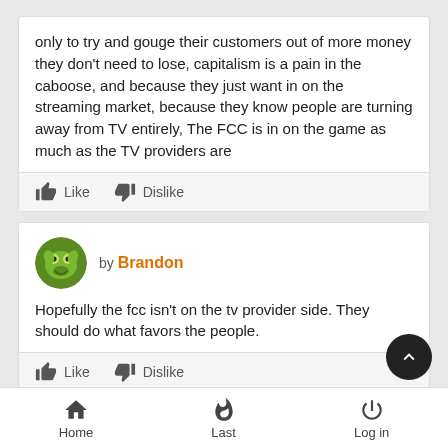only to try and gouge their customers out of more money they don't need to lose, capitalism is a pain in the caboose, and because they just want in on the streaming market, because they know people are turning away from TV entirely, The FCC is in on the game as much as the TV providers are
Like   Dislike
[Figure (screenshot): User avatar - green frog/character icon]
by Brandon
Hopefully the fcc isn't on the tv provider side. They should do what favors the people.
Like   Dislike
Home   Last   Log in